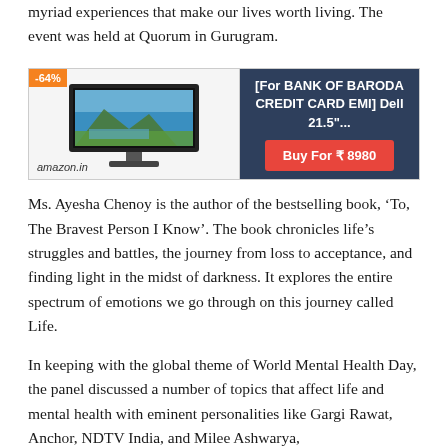myriad experiences that make our lives worth living. The event was held at Quorum in Gurugram.
[Figure (other): Amazon advertisement banner showing a Dell 21.5" monitor with -64% discount badge, priced at ₹8980 for Bank of Baroda Credit Card EMI.]
Ms. Ayesha Chenoy is the author of the bestselling book, 'To, The Bravest Person I Know'. The book chronicles life's struggles and battles, the journey from loss to acceptance, and finding light in the midst of darkness. It explores the entire spectrum of emotions we go through on this journey called Life.
In keeping with the global theme of World Mental Health Day, the panel discussed a number of topics that affect life and mental health with eminent personalities like Gargi Rawat, Anchor, NDTV India, and Milee Ashwarya,